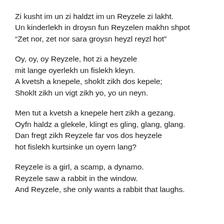Zi kusht im un zi haldzt im un Reyzele zi lakht.
Un kinderlekh in droysn fun Reyzelen makhn shpot
“Zet nor, zet nor sara groysn heyzl reyzl hot”
Oy, oy, oy Reyzele, hot zi a heyzele
mit lange oyerlekh un fislekh kleyn.
A kvetsh a knepele, shoklt zikh dos kepele;
Shoklt zikh un vigt zikh yo, yo un neyn.
Men tut a kvetsh a knepele hert zikh a gezang.
Oyfn haldz a glekele, klingt es gling, glang, glang.
Dan fregt zikh Reyzele far vos dos heyzele
hot fislekh kurtsinke un oyern lang?
Reyzele is a girl, a scamp, a dynamo.
Reyzele saw a rabbit in the window.
And Reyzele, she only wants a rabbit that laughs.